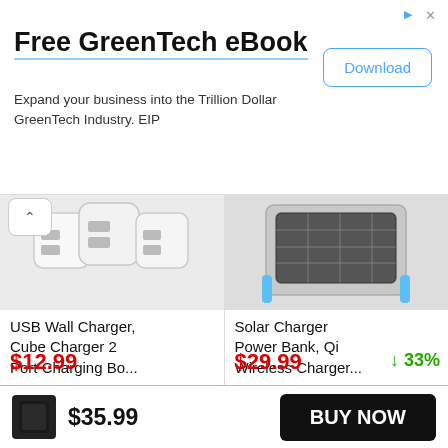[Figure (other): Advertisement banner for Free GreenTech eBook with Download button]
Free GreenTech eBook
Expand your business into the Trillion Dollar GreenTech Industry. EIP
[Figure (photo): USB Wall Charger cube charger product photo showing multiple white USB wall charger blocks]
USB Wall Charger, Cube Charger 2 Port Charging Bo...
$12.99
[Figure (photo): Solar Charger Power Bank product photo showing a solar panel power bank device]
Solar Charger Power Bank, Qi Wireless Charger...
$29.99
↓ 33%
[Figure (photo): Small black rectangular power bank product thumbnail]
$35.99
BUY NOW